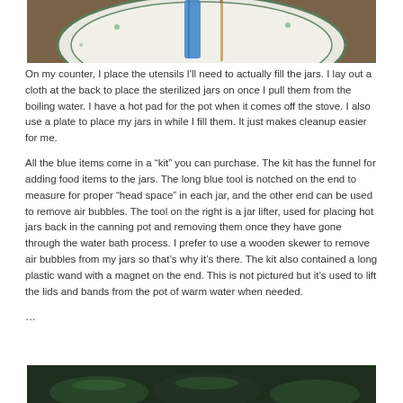[Figure (photo): Photo of canning utensils on a plate with a blue funnel and wooden skewer visible on a decorated plate, on a wooden surface]
On my counter, I place the utensils I'll need to actually fill the jars. I lay out a cloth at the back to place the sterilized jars on once I pull them from the boiling water. I have a hot pad for the pot when it comes off the stove. I also use a plate to place my jars in while I fill them. It just makes cleanup easier for me.
All the blue items come in a “kit” you can purchase. The kit has the funnel for adding food items to the jars. The long blue tool is notched on the end to measure for proper “head space” in each jar, and the other end can be used to remove air bubbles. The tool on the right is a jar lifter, used for placing hot jars back in the canning pot and removing them once they have gone through the water bath process. I prefer to use a wooden skewer to remove air bubbles from my jars so that’s why it’s there. The kit also contained a long plastic wand with a magnet on the end. This is not pictured but it’s used to lift the lids and bands from the pot of warm water when needed.
…
[Figure (photo): Photo of canning jars or related equipment, partially visible at bottom of page]